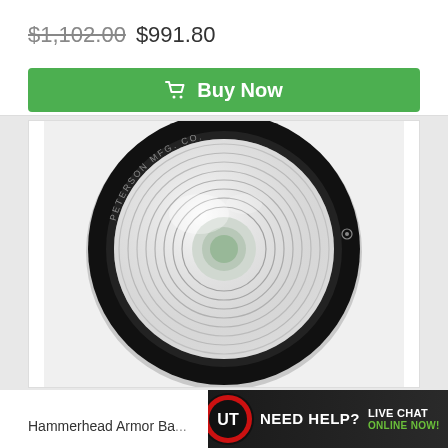$1,102.00 $991.80
🛒 Buy Now
[Figure (photo): Front-facing circular vehicle light/lamp with black rubber housing and clear lens with concentric ring pattern. The ring has text reading 'PETERSON MFG. CO.' around the edge.]
Hammerhead Armor Ba...
[Figure (logo): UT logo (circular black and red logo) with 'NEED HELP? LIVE CHAT ONLINE NOW!' banner in dark background with green text for ONLINE NOW]